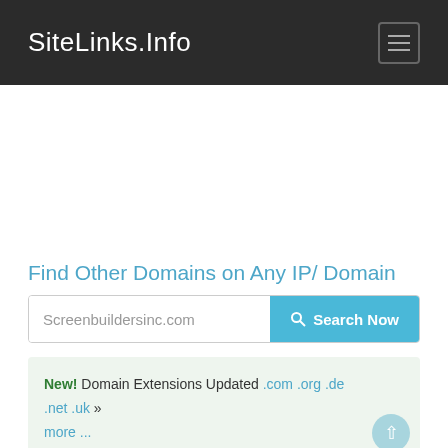SiteLinks.Info
[Figure (other): Advertisement / blank white area]
Find Other Domains on Any IP/ Domain
Screenbuildersinc.com  Search Now
New! Domain Extensions Updated .com .org .de .net .uk » more ...